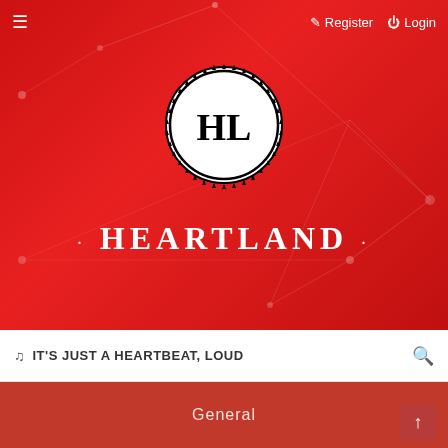[Figure (screenshot): Heartland website hero section with red gradient background, HL logo in gear circle, HEARTLAND brand title, navigation bar with Register and Login links, search bar with music note and IT'S JUST A HEARTBEAT, LOUD text, and red General footer bar]
≡   Register   Login
· HEARTLAND ·
♪ IT'S JUST A HEARTBEAT, LOUD
General